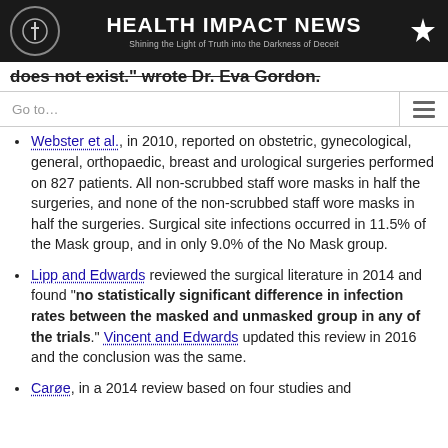HEALTH IMPACT NEWS — Shining the Light of Truth into the Darkness of Deceit
does not exist. wrote Dr. Eva Gordon.
Webster et al., in 2010, reported on obstetric, gynecological, general, orthopaedic, breast and urological surgeries performed on 827 patients. All non-scrubbed staff wore masks in half the surgeries, and none of the non-scrubbed staff wore masks in half the surgeries. Surgical site infections occurred in 11.5% of the Mask group, and in only 9.0% of the No Mask group.
Lipp and Edwards reviewed the surgical literature in 2014 and found "no statistically significant difference in infection rates between the masked and unmasked group in any of the trials." Vincent and Edwards updated this review in 2016 and the conclusion was the same.
Carøe, in a 2014 review based on four studies and